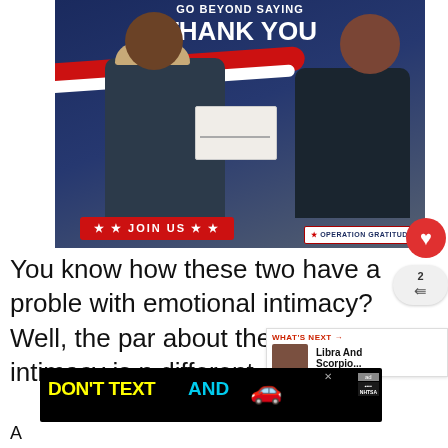[Figure (photo): Operation Gratitude advertisement showing a military service member in camouflage receiving a box from a civilian woman. Dark navy background with text 'GO BEYOND SAYING THANK YOU' at top, red JOIN US button and Operation Gratitude logo at bottom of image.]
You know how these two have a problem with emotional intimacy? Well, the part about their physical intimacy is no different.
[Figure (screenshot): Side UI elements: heart/favorite button (red circle), share count '2' badge and share icon on gray rounded panel, and 'WHAT'S NEXT → Libra And Scorpio...' panel with thumbnail.]
[Figure (photo): Bottom advertisement banner: 'DON'T TEXT AND' with car emoji on black background, NHTSA ad logo, close X button.]
A